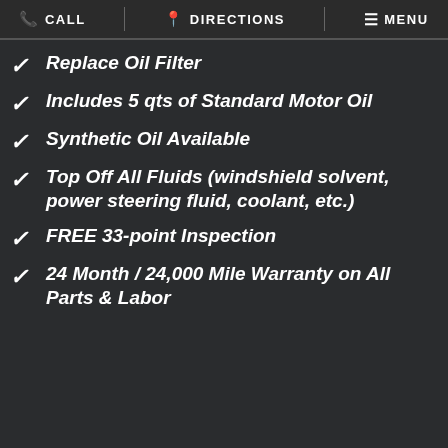CALL | DIRECTIONS | MENU
Replace Oil Filter
Includes 5 qts of Standard Motor Oil
Synthetic Oil Available
Top Off All Fluids (windshield solvent, power steering fluid, coolant, etc.)
FREE 33-point Inspection
24 Month / 24,000 Mile Warranty on All Parts & Labor